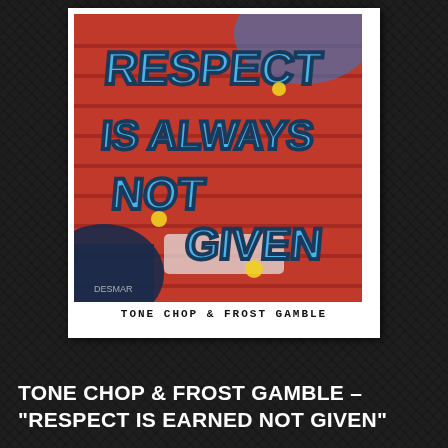[Figure (photo): Album cover for Tone Chop & Frost Gamble 'Respect Is Earned Not Given'. Features colorful graffiti lettering in blue, red, and yellow on a brick wall background. Text reads 'Respect Is Earned Not Given'. Below the image text reads 'TONE CHOP & FROST GAMBLE' in monospace font. The image is presented as a Polaroid-style white-bordered photo.]
TONE CHOP & FROST GAMBLE – "RESPECT IS EARNED NOT GIVEN"